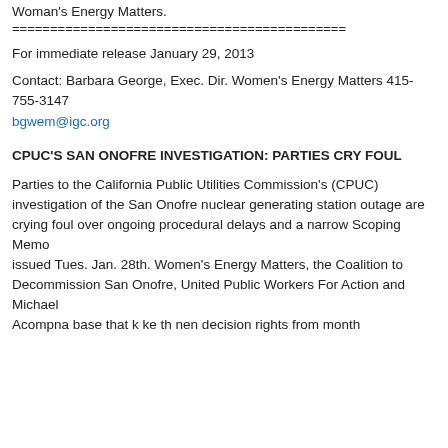Woman's Energy Matters.
============================================
For immediate release January 29, 2013
Contact: Barbara George, Exec. Dir. Women's Energy Matters 415-755-3147
bgwem@igc.org
CPUC'S SAN ONOFRE INVESTIGATION: PARTIES CRY FOUL
Parties to the California Public Utilities Commission's (CPUC) investigation of the San Onofre nuclear generating station outage are crying foul over ongoing procedural delays and a narrow Scoping Memo issued Tues. Jan. 28th. Women's Energy Matters, the Coalition to Decommission San Onofre, United Public Workers For Action and Michael Acompna base that k ke th nen decision rights from month